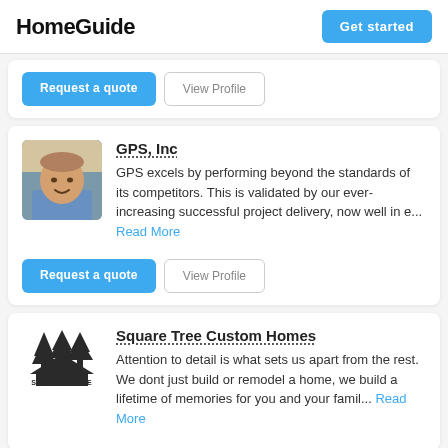HomeGuide | Get started
Request a quote | View Profile
GPS, Inc
GPS excels by performing beyond the standards of its competitors. This is validated by our ever-increasing successful project delivery, now well in e... Read More
Request a quote | View Profile
Square Tree Custom Homes
Attention to detail is what sets us apart from the rest. We dont just build or remodel a home, we build a lifetime of memories for you and your famil... Read More